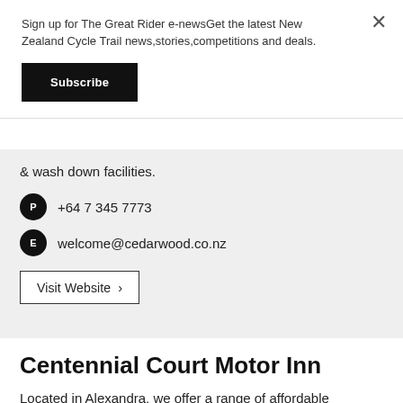Sign up for The Great Rider e-newsGet the latest New Zealand Cycle Trail news,stories,competitions and deals.
Subscribe
& wash down facilities.
+64 7 345 7773
welcome@cedarwood.co.nz
Visit Website >
Centennial Court Motor Inn
Located in Alexandra, we offer a range of affordable accommodation suitable for families, large groups, corporates and couples seeking comfort and style.